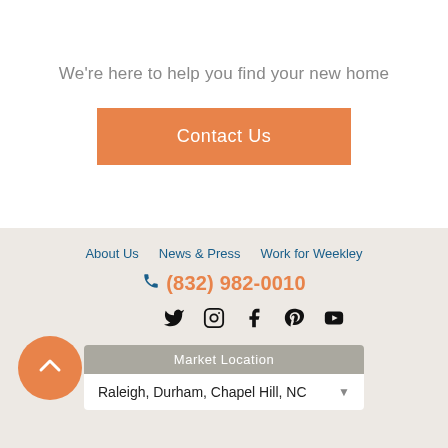We're here to help you find your new home
Contact Us
About Us
News & Press
Work for Weekley
(832) 982-0010
[Figure (illustration): Social media icons: Twitter, Instagram, Facebook, Pinterest, YouTube]
Market Location
Raleigh, Durham, Chapel Hill, NC